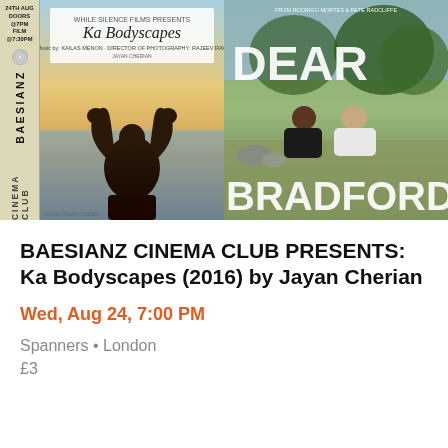[Figure (photo): Two film posters side by side. Left: Baesianz Cinema Club sidebar with 'Ka Bodyscapes' film poster showing a muscular figure from behind with arms raised against a seascape sky, with '24th Aug Doors @7PM Film @7:30PM' text. Right: 'Dear Bradford' film poster showing two people sitting outdoors.]
BAESIANZ CINEMA CLUB PRESENTS: Ka Bodyscapes (2016) by Jayan Cherian
Wed, Aug 24, 7:00 PM
Spanners • London
£3